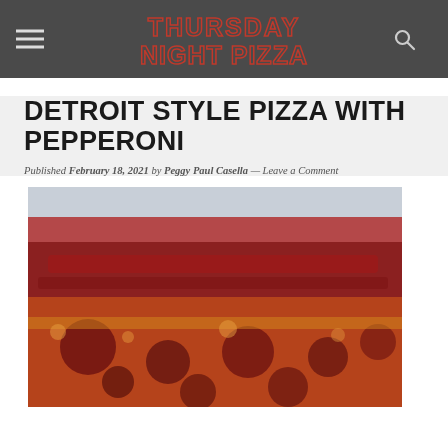THURSDAY NIGHT PIZZA
DETROIT STYLE PIZZA WITH PEPPERONI
Published February 18, 2021 by Peggy Paul Casella — Leave a Comment
[Figure (photo): Close-up photo of Detroit style pizza with pepperoni, showing caramelized cheese edges and tomato sauce on top]